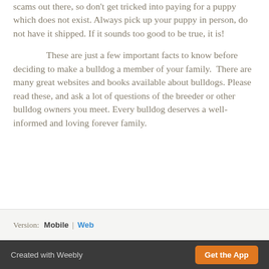scams out there, so don't get tricked into paying for a puppy which does not exist. Always pick up your puppy in person, do not have it shipped. If it sounds too good to be true, it is!
These are just a few important facts to know before deciding to make a bulldog a member of your family.  There are many great websites and books available about bulldogs. Please read these, and ask a lot of questions of the breeder or other bulldog owners you meet. Every bulldog deserves a well-informed and loving forever family.
Version: Mobile | Web
Created with Weebly  Get the App